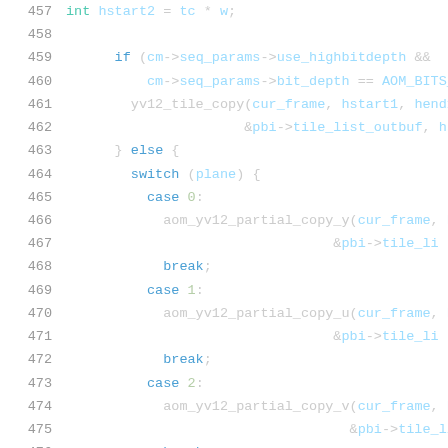[Figure (screenshot): Source code snippet showing C code lines 457-478, with syntax highlighting. Line numbers in grey on left, keywords in blue, variables in light blue, numbers in green, punctuation in white/grey.]